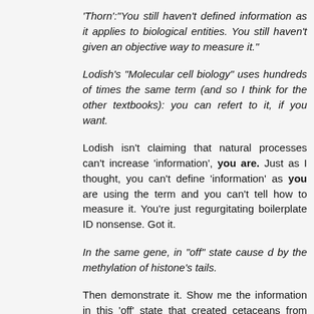'Thorn':"You still haven't defined information as it applies to biological entities. You still haven't given an objective way to measure it."
Lodish's "Molecular cell biology" uses hundreds of times the same term (and so I think for the other textbooks): you can refert to it, if you want.
Lodish isn't claiming that natural processes can't increase 'information', you are. Just as I thought, you can't define 'information' as you are using the term and you can't tell how to measure it. You're just regurgitating boilerplate ID nonsense. Got it.
In the same gene, in "off" state cause d by the methylation of histone's tails.
Then demonstrate it. Show me the information in this 'off' state that created cetaceans from land animals. Or the 'front loading' that created the canid family. You claimed that all of evolution is